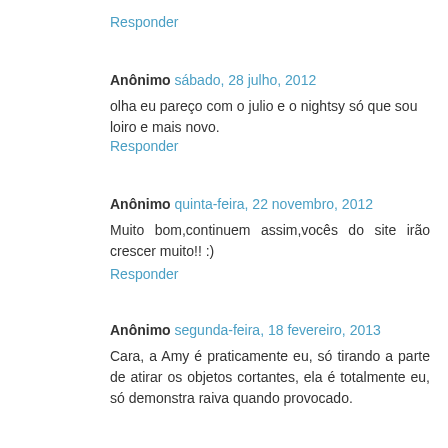Responder
Anônimo sábado, 28 julho, 2012
olha eu pareço com o julio e o nightsy só que sou loiro e mais novo.
Responder
Anônimo quinta-feira, 22 novembro, 2012
Muito bom,continuem assim,vocês do site irão crescer muito!! :)
Responder
Anônimo segunda-feira, 18 fevereiro, 2013
Cara, a Amy é praticamente eu, só tirando a parte de atirar os objetos cortantes, ela é totalmente eu, só demonstra raiva quando provocado.